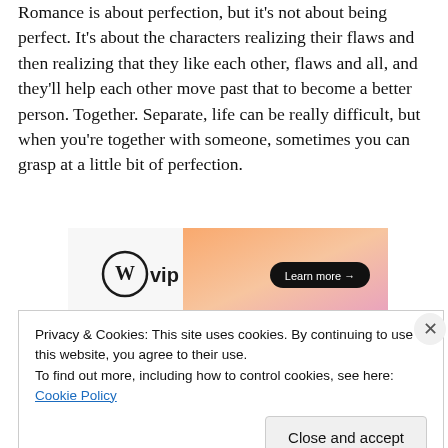Romance is about perfection, but it's not about being perfect. It's about the characters realizing their flaws and then realizing that they like each other, flaws and all, and they'll help each other move past that to become a better person. Together. Separate, life can be really difficult, but when you're together with someone, sometimes you can grasp at a little bit of perfection.
[Figure (other): WordPress VIP advertisement banner with orange/pink gradient background and 'Learn more' button]
REPORT THIS AD
What do you think? Because we want you to think...
Privacy & Cookies: This site uses cookies. By continuing to use this website, you agree to their use.
To find out more, including how to control cookies, see here: Cookie Policy
Close and accept